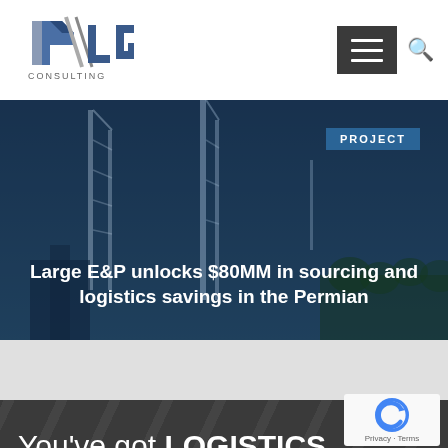[Figure (logo): PLG Consulting logo - stylized letter P with diagonal lines, blue and gray color scheme]
[Figure (other): Hamburger menu icon (three horizontal lines) on dark gray background, with a search magnifying glass icon]
[Figure (photo): Industrial oil drilling rig / communication tower structure photographed at dusk against a blue sky backdrop]
PROJECT
Large E&P unlocks $80MM in sourcing and logistics savings in the Permian
You've got LOGISTICS.
We've got INSIGHTS!
[Figure (other): Google reCAPTCHA badge showing the reCAPTCHA logo with Privacy and Terms links]